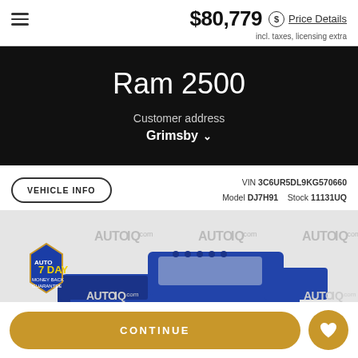$80,779 Price Details
incl. taxes, licensing extra
Ram 2500
Customer address
Grimsby
VEHICLE INFO    VIN 3C6UR5DL9KG570660    Model DJ7H91    Stock 11131UQ
[Figure (photo): Blue Ram 2500 truck shown on AutoIQ.com branded background with 7 Day Money Back Guarantee badge]
CONTINUE